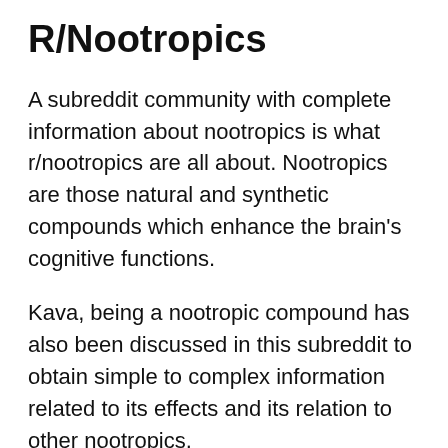R/Nootropics
A subreddit community with complete information about nootropics is what r/nootropics are all about. Nootropics are those natural and synthetic compounds which enhance the brain’s cognitive functions.
Kava, being a nootropic compound has also been discussed in this subreddit to obtain simple to complex information related to its effects and its relation to other nootropics.
r/nootropics encompass extensive in-depth knowledge about nootropics with the help of